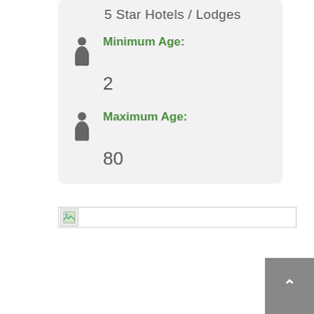5 Star Hotels / Lodges
Minimum Age: 2
Maximum Age: 80
[Figure (other): Broken image placeholder at bottom of card section]
[Figure (other): Gray scroll-to-top button with upward arrow chevron in bottom-right corner]